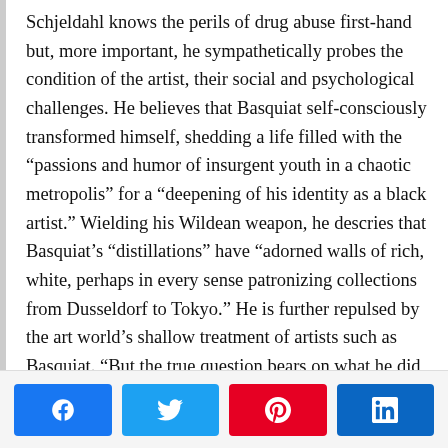Schjeldahl knows the perils of drug abuse first-hand but, more important, he sympathetically probes the condition of the artist, their social and psychological challenges. He believes that Basquiat self-consciously transformed himself, shedding a life filled with the “passions and humor of insurgent youth in a chaotic metropolis” for a “deepening of his identity as a black artist.” Wielding his Wildean weapon, he descries that Basquiat’s “distillations” have “adored walls of rich, white, perhaps in every sense patronizing collections from Dusseldorf to Tokyo.” He is further repulsed by the art world’s shallow treatment of artists such as Basquiat. “But the true question bears on what he did do,” the critic concludes,
[Figure (infographic): Social sharing buttons: Facebook (blue), Twitter (light blue), Pinterest (red), LinkedIn (dark blue)]